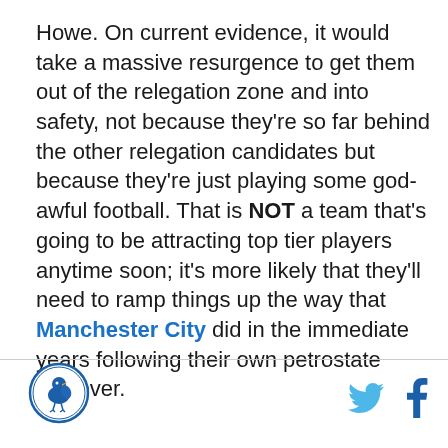Howe. On current evidence, it would take a massive resurgence to get them out of the relegation zone and into safety, not because they're so far behind the other relegation candidates but because they're just playing some god-awful football. That is NOT a team that's going to be attracting top tier players anytime soon; it's more likely that they'll need to ramp things up the way that Manchester City did in the immediate years following their own petrostate takeover.
[Figure (logo): Circular logo with bird illustration, blue border, white background]
[Figure (illustration): Twitter bird icon in light blue and Facebook 'f' icon in dark blue]